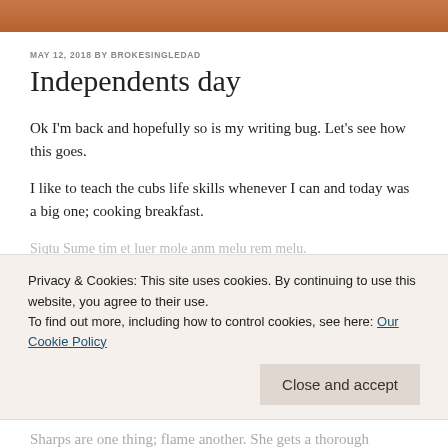MAY 12, 2018 BY BROKESINGLEDAD
Independents day
Ok I'm back and hopefully so is my writing bug. Let's see how this goes.
I like to teach the cubs life skills whenever I can and today was a big one; cooking breakfast.
Privacy & Cookies: This site uses cookies. By continuing to use this website, you agree to their use.
To find out more, including how to control cookies, see here: Our Cookie Policy
Close and accept
Sharps are one thing; flame another. She gets a thorough